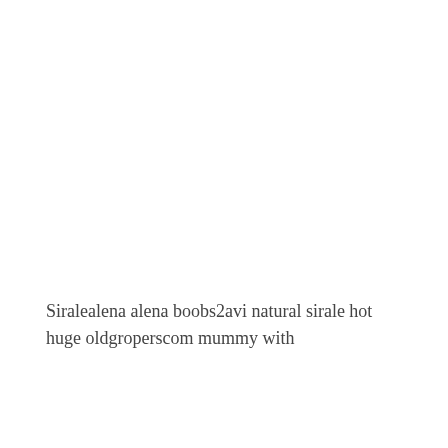Siralealena alena boobs2avi natural sirale hot huge oldgroperscom mummy with